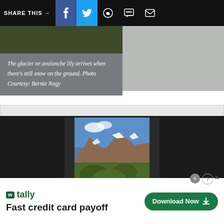SHARE THIS →  [Facebook] [Twitter] [WhatsApp] [Chat] [Mail]
The glacier or avalanche lily arrives when there's still snow on the ground. Photo Courtesy: Bernie Nagy
[Figure (photo): Mountain landscape with white flowers in the foreground, rocky mountain peaks with snow patches and blue sky in the background]
[Figure (photo): Tally app advertisement banner showing logo and 'Fast credit card payoff' text with Download Now button]